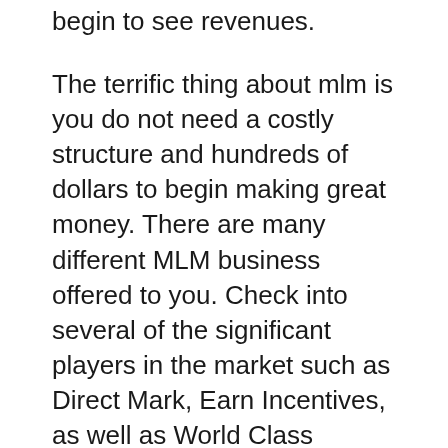begin to see revenues.
The terrific thing about mlm is you do not need a costly structure and hundreds of dollars to begin making great money. There are many different MLM business offered to you. Check into several of the significant players in the market such as Direct Mark, Earn Incentives, as well as World Class Promotions. With the ideal training and the ideal program you can be effective.
Web marketing is the best new service chance. It is mostly online, so the knowing contour is much easier. It does take a great deal of effort to find out just how to set up your very own blog, web site, and MySpace or Facebook web page. Nevertheless, once